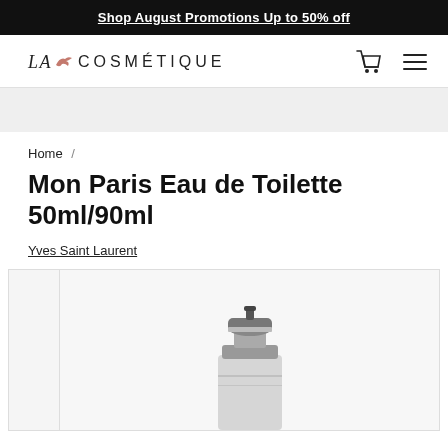Shop August Promotions Up to 50% off
[Figure (logo): LA COSMETIQUE logo with small pink bird/dove icon between LA and COSMETIQUE text, plus shopping cart and hamburger menu icons on the right]
[Figure (photo): Gray placeholder image area below navigation header]
Home /
Mon Paris Eau de Toilette 50ml/90ml
Yves Saint Laurent
[Figure (photo): Product image of Mon Paris Eau de Toilette perfume bottle showing top portion with silver cap, partially visible against light gray background]